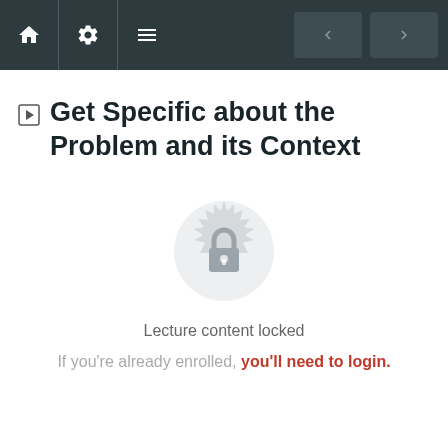Navigation bar with home, settings, menu, back and forward buttons
Get Specific about the Problem and its Context
[Figure (illustration): Lock icon inside a decorative circular badge, indicating locked content]
Lecture content locked
If you're already enrolled, you'll need to login.